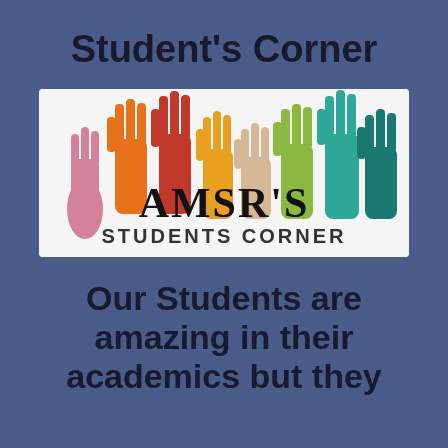Student's Corner
[Figure (logo): AMSR'S STUDENTS CORNER logo with colorful raised hands (pink, orange, red, yellow, beige, green, teal) above bold black text reading AMSR'S STUDENTS CORNER on a white background]
Our Students are amazing in their academics but they